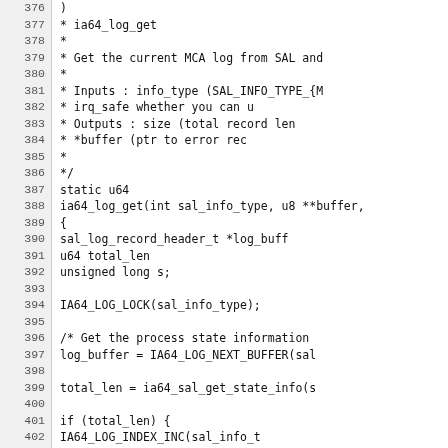[Figure (screenshot): Source code listing showing lines 376-406 of a C file implementing ia64_log_get function with comments, function signature, variable declarations, and function body including lock/unlock logic and IA64 macros.]